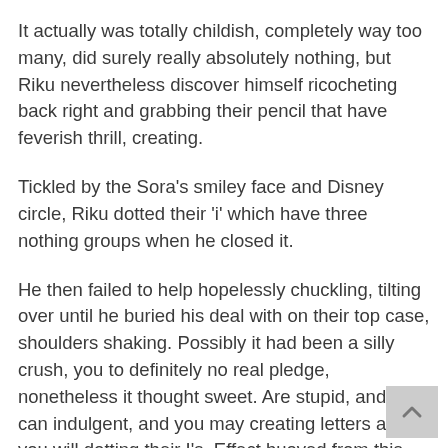It actually was totally childish, completely way too many, did surely really absolutely nothing, but Riku nevertheless discover himself ricocheting back right and grabbing their pencil that have feverish thrill, creating.
Tickled by the Sora's smiley face and Disney circle, Riku dotted their 'i' which have three nothing groups when he closed it.
He then failed to help hopelessly chuckling, tilting over until he buried his deal with on their top case, shoulders shaking. Possibly it had been a silly crush, you to definitely no real pledge, nonetheless it thought sweet. Are stupid, and you can indulgent, and you may creating letters and you will dotting their I's. Effect buoyed from this ticklish, delighted laughter. Riku didn't recall the history big date he'd felt light similar to this, or even acted from